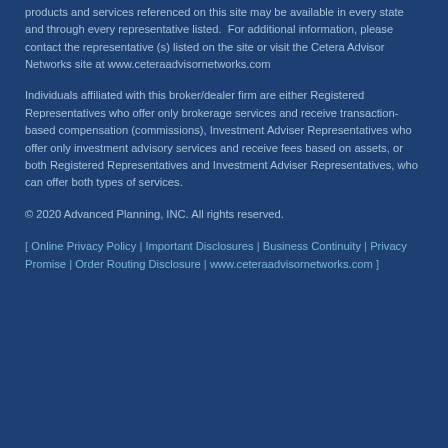products and services referenced on this site may be available in every state and through every representative listed.  For additional information, please contact the representative (s) listed on the site or visit the Cetera Advisor Networks site at www.ceteraadvisornetworks.com
Individuals affiliated with this broker/dealer firm are either Registered Representatives who offer only brokerage services and receive transaction-based compensation (commissions), Investment Adviser Representatives who offer only investment advisory services and receive fees based on assets, or both Registered Representatives and Investment Adviser Representatives, who can offer both types of services.
© 2020 Advanced Planning, INC. All rights reserved.
[ Online Privacy Policy | Important Disclosures | Business Continuity | Privacy Promise | Order Routing Disclosure | www.ceteraadvisornetworks.com ]